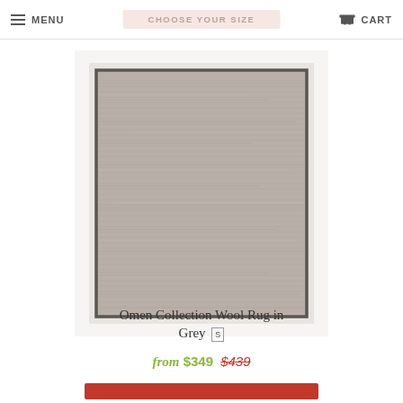MENU | CHOOSE YOUR SIZE | CART
[Figure (photo): Omen Collection Wool Rug in Grey - a rectangular woven rug with horizontal texture pattern in grey/taupe tones with dark border, shown on white background]
Omen Collection Wool Rug in Grey S
from $349 $439